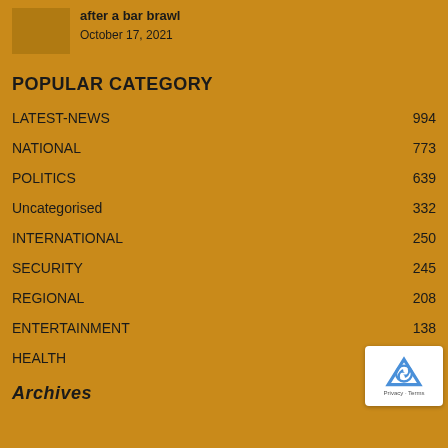[Figure (photo): Small thumbnail image of an article, brownish/orange color]
after a bar brawl
October 17, 2021
POPULAR CATEGORY
LATEST-NEWS    994
NATIONAL    773
POLITICS    639
Uncategorised    332
INTERNATIONAL    250
SECURITY    245
REGIONAL    208
ENTERTAINMENT    138
HEALTH
Archives
[Figure (logo): reCAPTCHA badge with Privacy and Terms links]